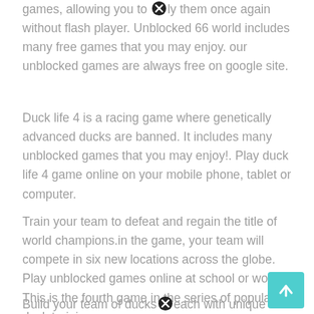games, allowing you to [x] them once again without flash player. Unblocked 66 world includes many free games that you may enjoy. our unblocked games are always free on google site.
Duck life 4 is a racing game where genetically advanced ducks are banned. It includes many unblocked games that you may enjoy!. Play duck life 4 game online on your mobile phone, tablet or computer.
Train your team to defeat and regain the title of world champions.in the game, your team will compete in six new locations across the globe. Play unblocked games online at school or work! This is the fourth game in the series of popular duck training games.
Build your team of ducks [x] each with unique